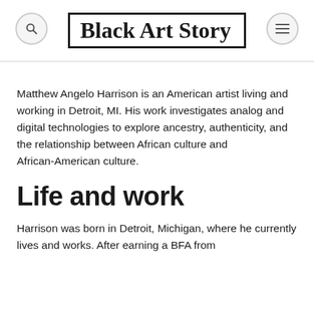Black Art Story
Matthew Angelo Harrison is an American artist living and working in Detroit, MI. His work investigates analog and digital technologies to explore ancestry, authenticity, and the relationship between African culture and African-American culture.
Life and work
Harrison was born in Detroit, Michigan, where he currently lives and works. After earning a BFA from